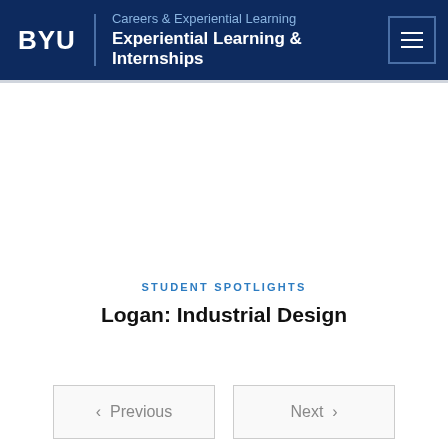BYU | Careers & Experiential Learning | Experiential Learning & Internships
STUDENT SPOTLIGHTS
Logan: Industrial Design
< Previous
Next >